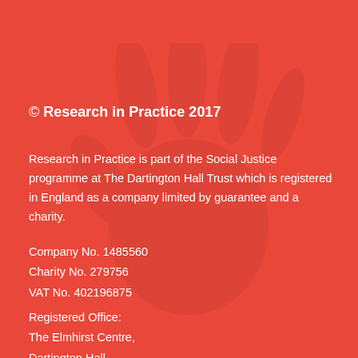© Research in Practice 2017
Research in Practice is part of the Social Justice programme at The Dartington Hall Trust which is registered in England as a company limited by guarantee and a charity.
Company No. 1485560
Charity No. 279756
VAT No. 402196875
Registered Office:
The Elmhirst Centre,
Dartington Hall,
Totnes
TQ9 6EL